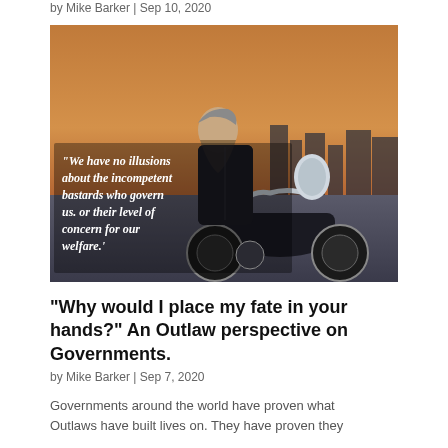by Mike Barker | Sep 10, 2020
[Figure (photo): A bearded man in a leather jacket sitting on a motorcycle at dusk, with text overlay reading: 'We have no illusions about the incompetent bastards who govern us. or their level of concern for our welfare.']
“Why would I place my fate in your hands?” An Outlaw perspective on Governments.
by Mike Barker | Sep 7, 2020
Governments around the world have proven what Outlaws have built lives on. They have proven they